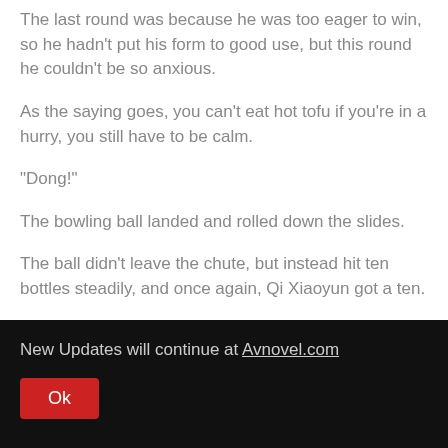The last round was because he was too eager to win, so he hadn't put his form to good use, but this round he couldn't be so anxious.
As the saying goes, you can't eat hot tofu if you're in a hurry, you still have to be calm.
"Dong!"
The bowling ball landed and rolled down the slides.
The ball didn't leave the chute, but instead hit ten bottles steadily, and once again, Qi Xiaoyun got a ten.
"Yay!"
New Updates will continue at Avnovel.com